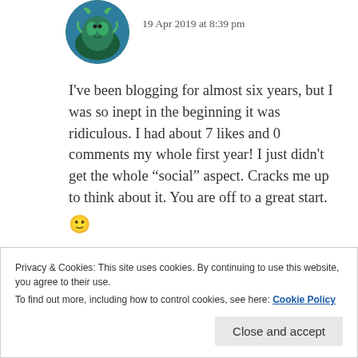[Figure (illustration): Circular avatar showing a green dragon illustration in a forest/blue background]
19 Apr 2019 at 8:39 pm
I've been blogging for almost six years, but I was so inept in the beginning it was ridiculous. I had about 7 likes and 0 comments my whole first year! I just didn't get the whole “social” aspect. Cracks me up to think about it. You are off to a great start. 🙂
★ Like
Privacy & Cookies: This site uses cookies. By continuing to use this website, you agree to their use.
To find out more, including how to control cookies, see here: Cookie Policy
Close and accept